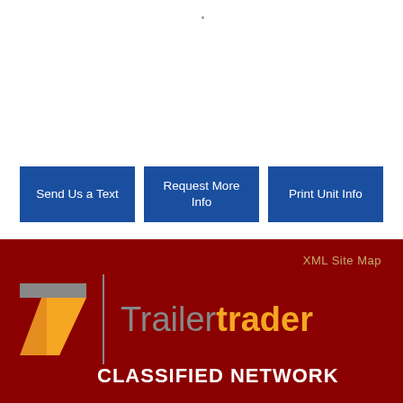[Figure (screenshot): White top section with a small dot near the top center]
Send Us a Text
Request More Info
Print Unit Info
XML Site Map
[Figure (logo): TrailerTrader Classified Network logo with stylized T icon, grey and orange colors, on dark red background]
CLASSIFIED NETWORK